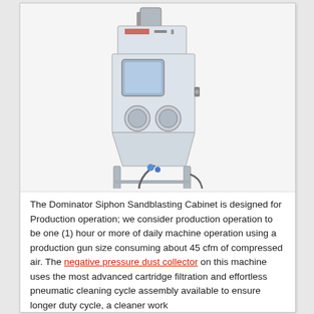[Figure (photo): Photo of a Dominator Siphon Sandblasting Cabinet — a large white upright cabinet with a viewing window on the upper front, two circular arm holes in the middle section, a hopper at the base, metal legs, and a dust collector unit on top.]
The Dominator Siphon Sandblasting Cabinet is designed for Production operation; we consider production operation to be one (1) hour or more of daily machine operation using a production gun size consuming about 45 cfm of compressed air. The negative pressure dust collector on this machine uses the most advanced cartridge filtration and effortless pneumatic cleaning cycle assembly available to ensure longer duty cycle, a cleaner work